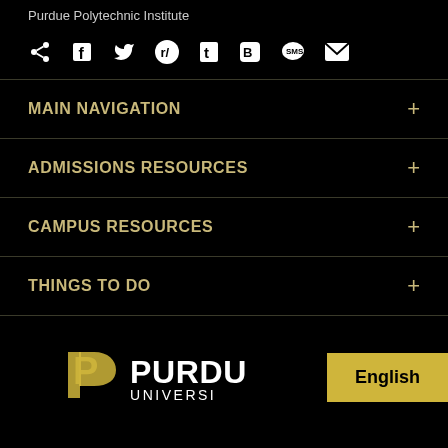Purdue Polytechnic Institute
[Figure (infographic): Social sharing icons row: share, Facebook, Twitter, Reddit, Tumblr, Blogger, SMS, Email]
MAIN NAVIGATION
ADMISSIONS RESOURCES
CAMPUS RESOURCES
THINGS TO DO
[Figure (logo): Purdue University logo with stylized P and PURDUE UNIVERSITY text, with English language button overlay]